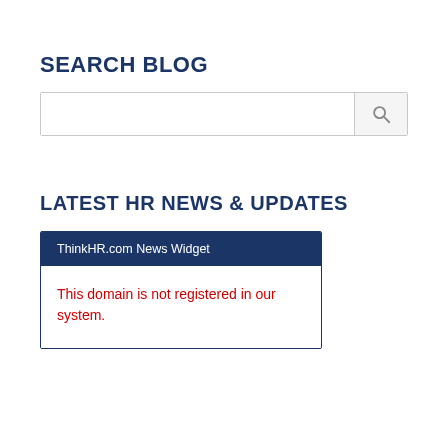SEARCH BLOG
[Figure (screenshot): Search input box with a search icon button on the right side]
LATEST HR NEWS & UPDATES
ThinkHR.com News Widget
This domain is not registered in our system.